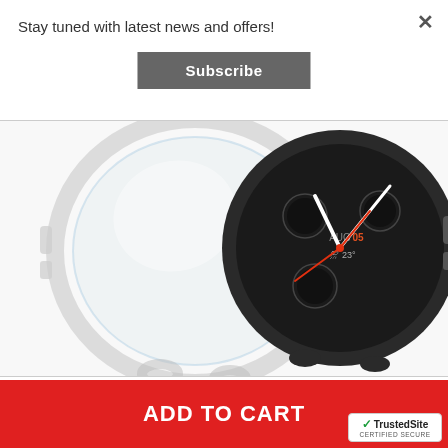Stay tuned with latest news and offers!
Subscribe
[Figure (photo): Product photo showing two Samsung Galaxy Watch Active cases side by side: a clear transparent TPU case on the left and a dark smoke/black case on the right showing the watch face displaying AUG 05 and 23 degrees temperature.]
ADD TO CART
[Figure (logo): TrustedSite Certified Secure badge with green checkmark]